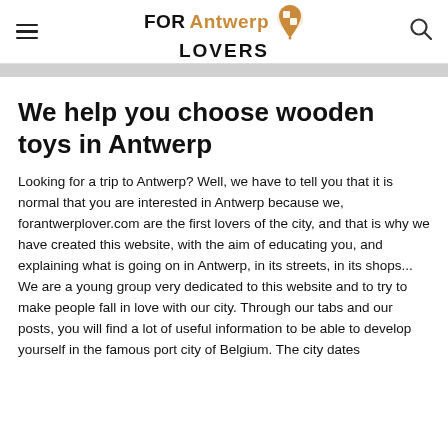FOR Antwerp LOVERS
We help you choose wooden toys in Antwerp
Looking for a trip to Antwerp? Well, we have to tell you that it is normal that you are interested in Antwerp because we, forantwerplover.com are the first lovers of the city, and that is why we have created this website, with the aim of educating you, and explaining what is going on in Antwerp, in its streets, in its shops... We are a young group very dedicated to this website and to try to make people fall in love with our city. Through our tabs and our posts, you will find a lot of useful information to be able to develop yourself in the famous port city of Belgium. The city dates